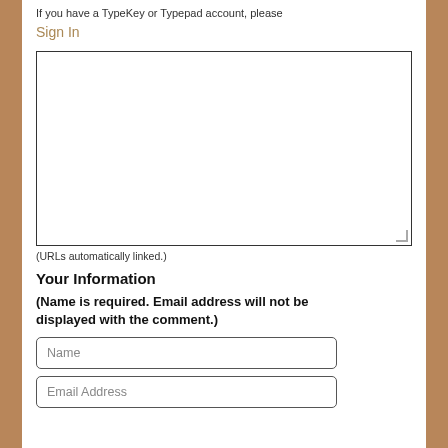If you have a TypeKey or Typepad account, please
Sign In
[Figure (other): Large empty text area input box with resize handle at bottom right]
(URLs automatically linked.)
Your Information
(Name is required. Email address will not be displayed with the comment.)
Name
Email Address